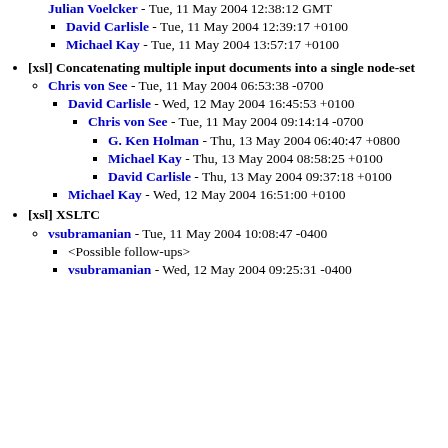Julian Voelcker - Tue, 11 May 2004 12:38:12 GMT (partial, top cut off)
David Carlisle - Tue, 11 May 2004 12:39:17 +0100
Michael Kay - Tue, 11 May 2004 13:57:17 +0100
[xsl] Concatenating multiple input documents into a single node-set
Chris von See - Tue, 11 May 2004 06:53:38 -0700
David Carlisle - Wed, 12 May 2004 16:45:53 +0100
Chris von See - Tue, 11 May 2004 09:14:14 -0700
G. Ken Holman - Thu, 13 May 2004 06:40:47 +0800
Michael Kay - Thu, 13 May 2004 08:58:25 +0100
David Carlisle - Thu, 13 May 2004 09:37:18 +0100
Michael Kay - Wed, 12 May 2004 16:51:00 +0100
[xsl] XSLTC
vsubramanian - Tue, 11 May 2004 10:08:47 -0400
<Possible follow-ups>
vsubramanian - Wed, 12 May 2004 09:25:31 -0400